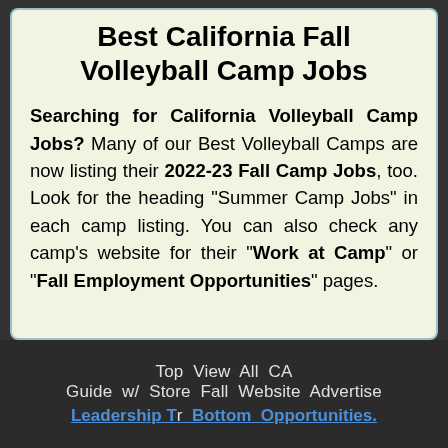Best California Fall Volleyball Camp Jobs
Searching for California Volleyball Camp Jobs? Many of our Best Volleyball Camps are now listing their 2022-23 Fall Camp Jobs, too. Look for the heading "Summer Camp Jobs" in each camp listing. You can also check any camp's website for their "Work at Camp" or "Fall Employment Opportunities" pages.
Top  View  All  CA Guide  w/  Store  Fall  Website  Advertise
Leadership Training  Bottom  Opportunities.